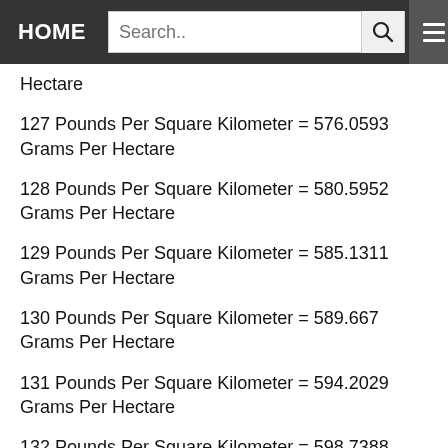HOME  Search..
Hectare
127 Pounds Per Square Kilometer = 576.0593 Grams Per Hectare
128 Pounds Per Square Kilometer = 580.5952 Grams Per Hectare
129 Pounds Per Square Kilometer = 585.1311 Grams Per Hectare
130 Pounds Per Square Kilometer = 589.667 Grams Per Hectare
131 Pounds Per Square Kilometer = 594.2029 Grams Per Hectare
132 Pounds Per Square Kilometer = 598.7388 Grams Per Hectare